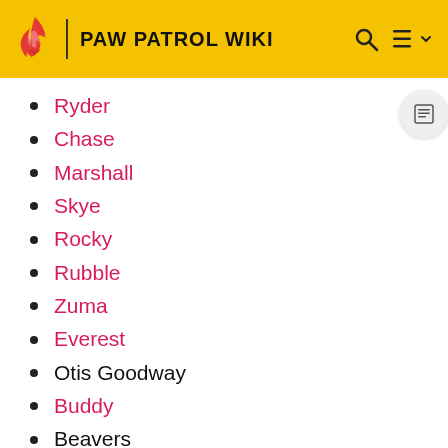PAW PATROL WIKI
Ryder
Chase
Marshall
Skye
Rocky
Rubble
Zuma
Everest
Otis Goodway
Buddy
Beavers
Jake
Mayor Goodway